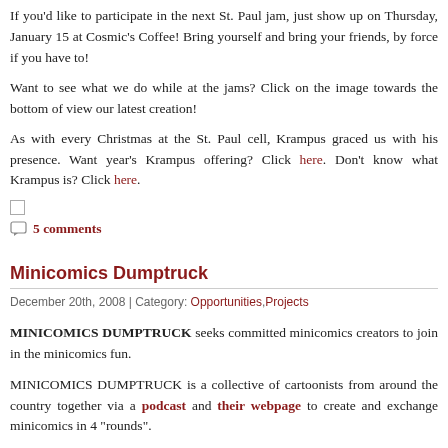If you'd like to participate in the next St. Paul jam, just show up on Thursday, January 15 at Cosmic's Coffee! Bring yourself and bring your friends, by force if you have to!
Want to see what we do while at the jams? Click on the image towards the bottom of view our latest creation!
As with every Christmas at the St. Paul cell, Krampus graced us with his presence. Want year's Krampus offering? Click here. Don't know what Krampus is? Click here.
5 comments
Minicomics Dumptruck
December 20th, 2008 | Category: Opportunities,Projects
MINICOMICS DUMPTRUCK seeks committed minicomics creators to join in the minicomics fun.
MINICOMICS DUMPTRUCK is a collective of cartoonists from around the country together via a podcast and their webpage to create and exchange minicomics in 4 "rounds".
The next round begins January 6th, 2009.
Here's how the MINICOMIC DUMPTRUCK works:
1)  Pre-register your name, email address, physical address (or PO Box), and a link website/blog with DUMPTRUCK poo-bah Kevin Cross at the MINICOMICS DUMPTRUCK
2) Register by January 8th, 2009 at 8pm CST (7pm PST) then available